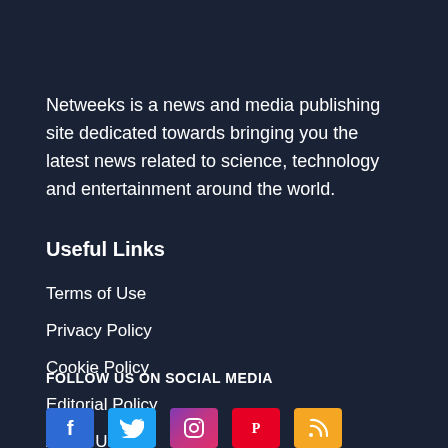Netweeks is a news and media publishing site dedicated towards bringing you the latest news related to science, technology and entertainment around the world.
Useful Links
Terms of Use
Editorial Policy
Privacy Policy
About Us
Cookie Policy
Contact Us
FOLLOW US ON SOCIAL MEDIA
[Figure (other): Social media icons row: Facebook (blue), Twitter (light blue), Instagram (purple-pink gradient), Pinterest (red), RSS (orange)]